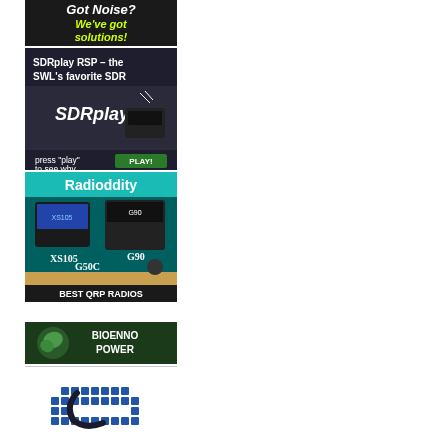[Figure (illustration): Advertisement: 'Got Noise? We've got solutions!' — dark background with yellow and green italic text]
[Figure (illustration): Advertisement: SDRplay RSP – the SWL's favorite SDR. Shows SDRplay logo and device image. Has 'press play to see why' text and a green PLAY! button.]
[Figure (illustration): Advertisement: Radioddity — showing XS105, G90, G50C radios on teal background with underwater theme. Text 'BEST QRP RADIOS' at bottom.]
[Figure (illustration): Advertisement: Bioenno Power — dark green background with leaf/sprout logo and white text 'BIOENNO POWER']
[Figure (illustration): Advertisement: Partial view of a grid/mosaic logo with blue squares and a stylized letter e or C in dark color]